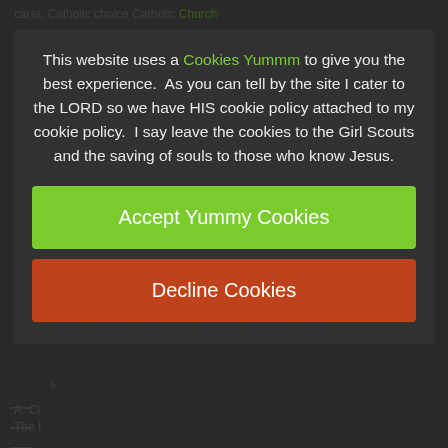This website uses a Cookies Yummm to give you the best experience.  As you can tell by the site I cater to the LORD so we have HIS cookie policy attached to my cookie policy.  I say leave the cookies to the Girl Scouts and the saving of souls to those who know Jesus.
[Figure (other): Green button labeled 'Accept Yummy Cookies' and red/orange button labeled 'Decline Cookies', part of a cookie consent modal overlay on a dark website background]